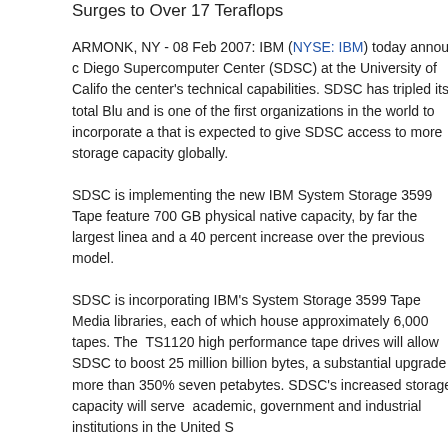Surges to Over 17 Teraflops
ARMONK, NY - 08 Feb 2007: IBM (NYSE: IBM) today announced that it has expanded its relationship with the San Diego Supercomputer Center (SDSC) at the University of California, San Diego, providing new systems technology to dramatically improve the center's technical capabilities. SDSC has tripled its total Blue Gene/L supercomputing capacity to more than 17 teraflops and is one of the first organizations in the world to incorporate a new high-capacity tape system from IBM that is expected to give SDSC access to more storage capacity than any other university or research center globally.
SDSC is implementing the new IBM System Storage 3599 Tape Media, the industry's first cartridges to feature 700 GB physical native capacity, by far the largest linear tape cartridge available in the industry and a 40 percent increase over the previous model.
SDSC is incorporating IBM's System Storage 3599 Tape Media into two IBM System Storage TS3500 tape libraries, each of which house approximately 6,000 tapes. The new media combined with IBM System Storage TS1120 high performance tape drives will allow SDSC to boost its storage capacity to approximately 25 million billion bytes, a substantial upgrade of more than 350% over the center's current capacity of seven petabytes. SDSC's increased storage capacity will serve a growing community of more than 2,500 academic, government and industrial institutions in the United States and internationally.
“As a national center, SDSC supports a host of state, federal, re­search and commercial organizations, so it's critical that SDSC develops an infrastructure